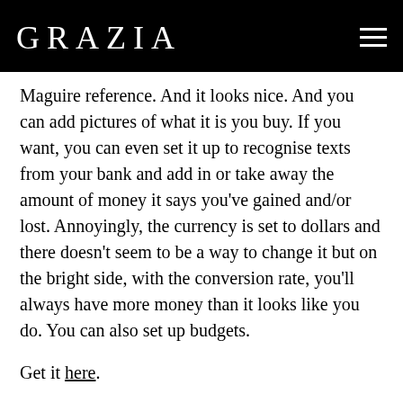GRAZIA
Maguire reference. And it looks nice. And you can add pictures of what it is you buy. If you want, you can even set it up to recognise texts from your bank and add in or take away the amount of money it says you've gained and/or lost. Annoyingly, the currency is set to dollars and there doesn't seem to be a way to change it but on the bright side, with the conversion rate, you'll always have more money than it looks like you do. You can also set up budgets.
Get it here.
6. Money Lover